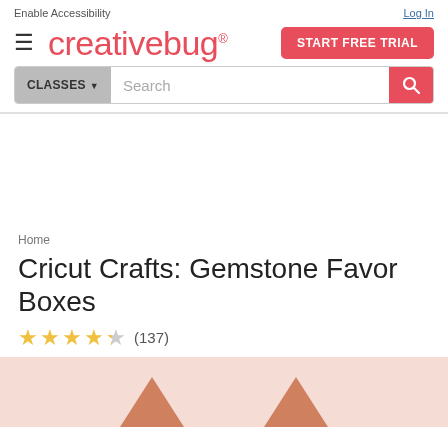Enable Accessibility    Log In
[Figure (logo): Creativebug logo with hamburger menu and START FREE TRIAL button]
[Figure (screenshot): Search bar with CLASSES dropdown and search icon]
Home
Cricut Crafts: Gemstone Favor Boxes
★★★★☆ (137)
[Figure (photo): Pink/peach background with gemstone favor box shapes visible at bottom]